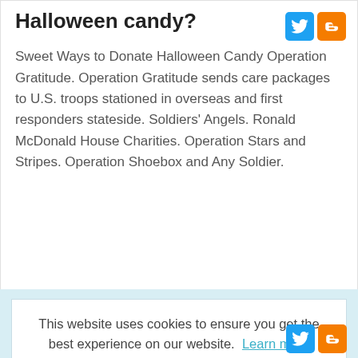Halloween candy?
Sweet Ways to Donate Halloween Candy Operation Gratitude. Operation Gratitude sends care packages to U.S. troops stationed in overseas and first responders stateside. Soldiers' Angels. Ronald McDonald House Charities. Operation Stars and Stripes. Operation Shoebox and Any Soldier.
This website uses cookies to ensure you get the best experience on our website. Learn more
Got it!